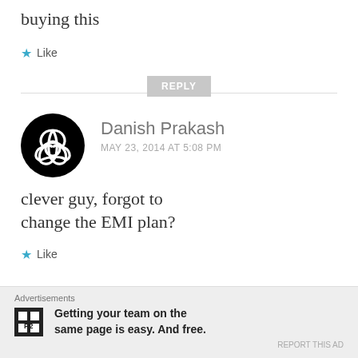buying this
★ Like
REPLY
[Figure (illustration): Circular black avatar icon with triquetra / trinity knot symbol in white]
Danish Prakash
MAY 23, 2014 AT 5:08 PM
clever guy, forgot to change the EMI plan?
★ Like
Advertisements
Getting your team on the same page is easy. And free.